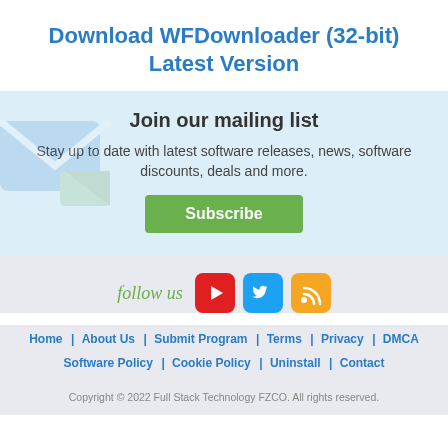Download WFDownloader (32-bit) Latest Version
Join our mailing list
Stay up to date with latest software releases, news, software discounts, deals and more.
Subscribe
[Figure (infographic): Follow us row with YouTube, Twitter, and RSS feed social media icons]
Home | About Us | Submit Program | Terms | Privacy | DMCA | Software Policy | Cookie Policy | Uninstall | Contact
Copyright © 2022 Full Stack Technology FZCO. All rights reserved.